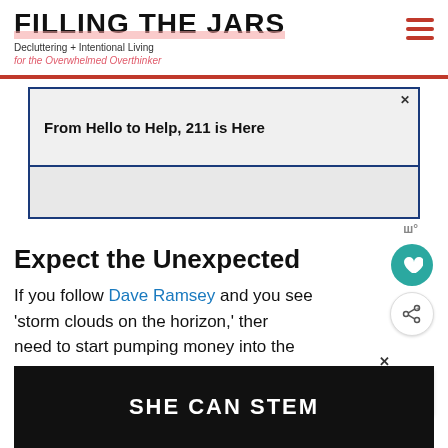FILLING THE JARS
Decluttering + Intentional Living
for the Overwhelmed Overthinker
[Figure (screenshot): Advertisement banner: 'From Hello to Help, 211 is Here' with dark navy border on gray background]
Expect the Unexpected
If you follow Dave Ramsey and you see 'storm clouds on the horizon,' there need to start pumping money into the
[Figure (screenshot): Advertisement banner: 'SHE CAN STEM' in bold white text on dark background]